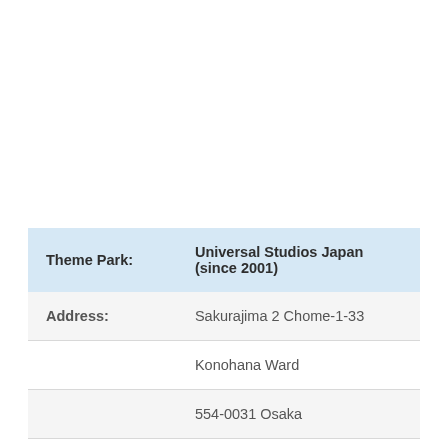| Field | Value |
| --- | --- |
| Theme Park: | Universal Studios Japan (since 2001) |
| Address: | Sakurajima 2 Chome-1-33 |
|  | Konohana Ward |
|  | 554-0031 Osaka |